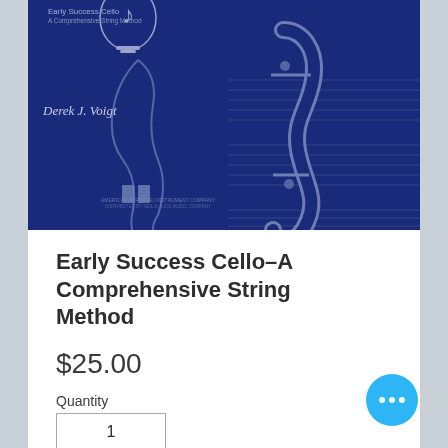[Figure (illustration): Book cover for 'Early Success Cello - A Comprehensive String Method' by Derek J. Voigt. Dark navy blue background with a silver/grey illustration of a cello scroll and body, plus a lyre/harp emblem at top center. Author name 'Derek J. Voigt' in light text on the left side.]
Early Success Cello–A Comprehensive String Method
$25.00
Quantity
1